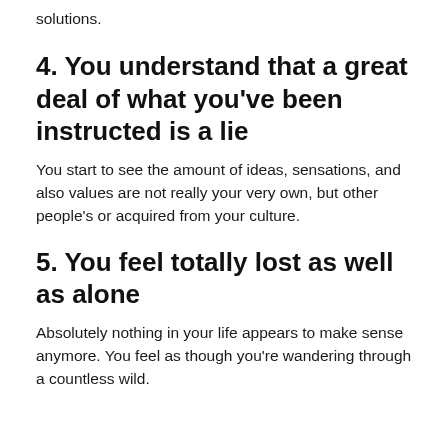solutions.
4. You understand that a great deal of what you've been instructed is a lie
You start to see the amount of ideas, sensations, and also values are not really your very own, but other people's or acquired from your culture.
5. You feel totally lost as well as alone
Absolutely nothing in your life appears to make sense anymore. You feel as though you're wandering through a countless wild. As you can be sure, we all feel completely